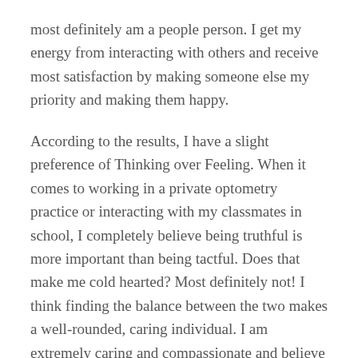most definitely am a people person. I get my energy from interacting with others and receive most satisfaction by making someone else my priority and making them happy.
According to the results, I have a slight preference of Thinking over Feeling. When it comes to working in a private optometry practice or interacting with my classmates in school, I completely believe being truthful is more important than being tactful. Does that make me cold hearted? Most definitely not! I think finding the balance between the two makes a well-rounded, caring individual. I am extremely caring and compassionate and believe that is the most irreplaceable talent I posses.
When it comes to the “J”… words can not explain how much this describes me. As much as I work in bursts